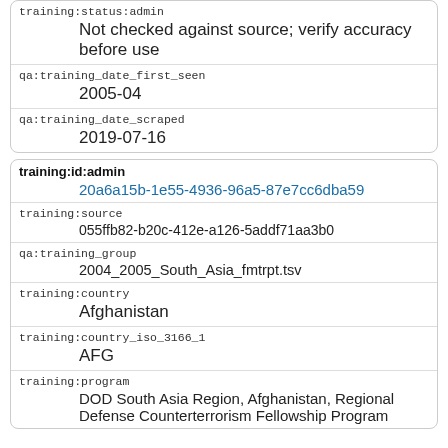training:status:admin
Not checked against source; verify accuracy before use
qa:training_date_first_seen
2005-04
qa:training_date_scraped
2019-07-16
training:id:admin
20a6a15b-1e55-4936-96a5-87e7cc6dba59
training:source
055ffb82-b20c-412e-a126-5addf71aa3b0
qa:training_group
2004_2005_South_Asia_fmtrpt.tsv
training:country
Afghanistan
training:country_iso_3166_1
AFG
training:program
DOD South Asia Region, Afghanistan, Regional Defense Counterterrorism Fellowship Program